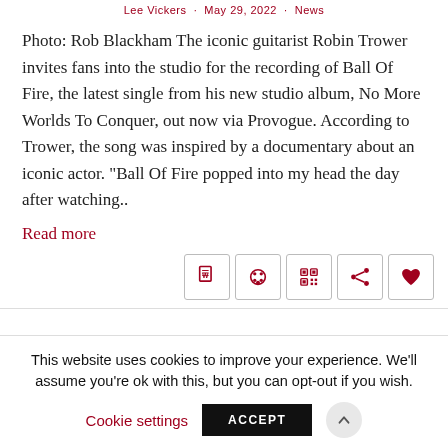Lee Vickers · May 29, 2022 · News
Photo: Rob Blackham The iconic guitarist Robin Trower invites fans into the studio for the recording of Ball Of Fire, the latest single from his new studio album, No More Worlds To Conquer, out now via Provogue. According to Trower, the song was inspired by a documentary about an iconic actor. "Ball Of Fire popped into my head the day after watching..
Read more
This website uses cookies to improve your experience. We'll assume you're ok with this, but you can opt-out if you wish.
Cookie settings   ACCEPT